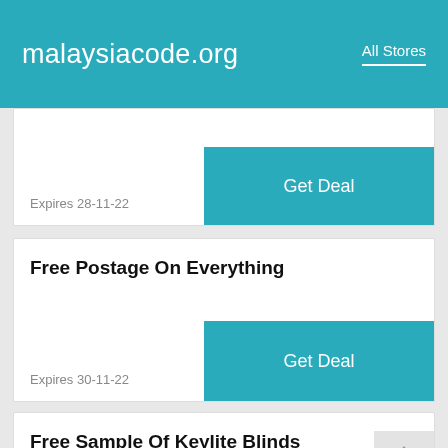malaysiacode.org  All Stores
Expires 28-11-22
Get Deal
Free Postage On Everything
Expires 30-11-22
Get Deal
Free Sample Of Keylite Blinds
Expires 30-11-22
Get Deal
Get This Code And Save 10%...